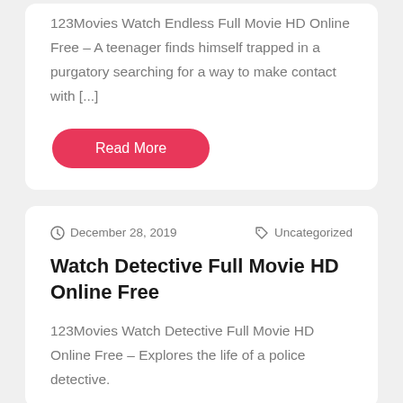123Movies Watch Endless Full Movie HD Online Free – A teenager finds himself trapped in a purgatory searching for a way to make contact with [...]
Read More
December 28, 2019
Uncategorized
Watch Detective Full Movie HD Online Free
123Movies Watch Detective Full Movie HD Online Free – Explores the life of a police detective.